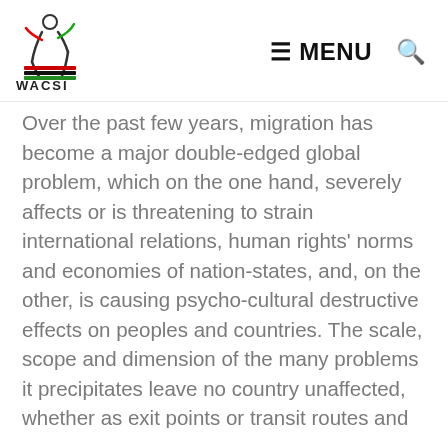[Figure (logo): WACSI logo with stylized figure and colored stripes in red, black, green above the text WACSI]
≡MENU 🔍
Over the past few years, migration has become a major double-edged global problem, which on the one hand, severely affects or is threatening to strain international relations, human rights' norms and economies of nation-states, and, on the other, is causing psycho-cultural destructive effects on peoples and countries. The scale, scope and dimension of the many problems it precipitates leave no country unaffected, whether as exit points or transit routes and as final destinations, though some countries and regions feel the impact